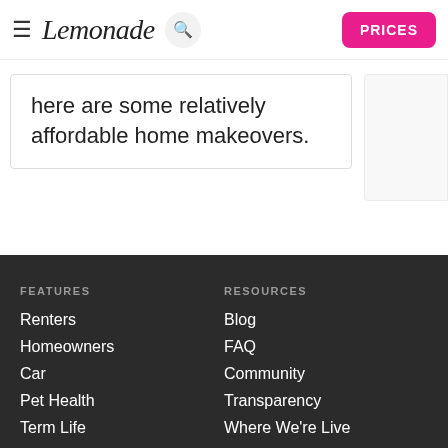Lemonade | PRICES
here are some relatively affordable home makeovers.
FEATURES
Renters
Homeowners
Car
Pet Health
Term Life
Claims
RESOURCES
Blog
FAQ
Community
Transparency
Where We're Live
Insurance Dictionary